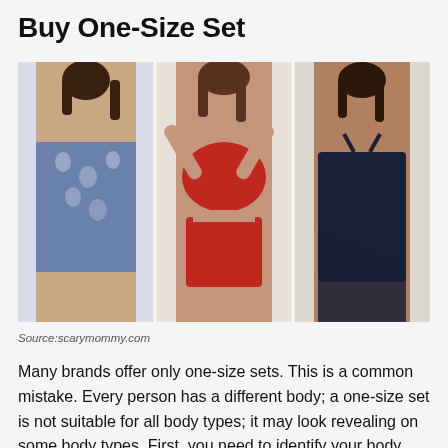Buy One-Size Set
[Figure (photo): Three women modeling swimwear: left wears a blue floral one-piece swimsuit, center wears a red two-piece bikini set with high-waisted bottoms, right wears a navy blue tankini with sarong-style skirt.]
Source:scarymommy.com
Many brands offer only one-size sets. This is a common mistake. Every person has a different body; a one-size set is not suitable for all body types; it may look revealing on some body types. First, you need to identify your body type and choose the swimwear accordingly.